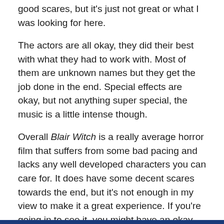good scares, but it's just not great or what I was looking for here.
The actors are all okay, they did their best with what they had to work with. Most of them are unknown names but they get the job done in the end. Special effects are okay, but not anything super special, the music is a little intense though.
Overall Blair Witch is a really average horror film that suffers from some bad pacing and lacks any well developed characters you can care for. It does have some decent scares towards the end, but it's not enough in my view to make it a great experience. If you're going in to see it, you might have an okay time with it and I do hope you enjoy it more than I did. If not though and you haven't seen Don't Breathe, I would recommend watching that this weekend instead as it's the better film of the two.